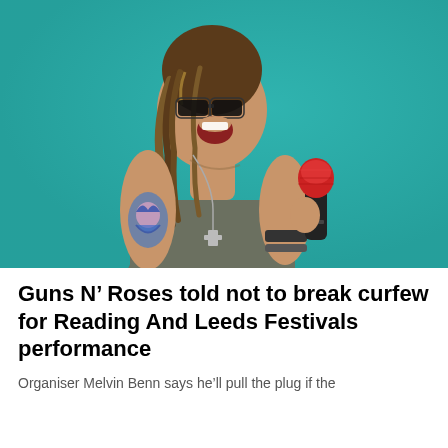[Figure (photo): A tattooed male rock singer with braided hair and sunglasses, wearing a sleeveless grey shirt, singing passionately into a red and black microphone. He has visible tattoos on his arm including a woman's face. He wears necklaces and bracelets. Background is teal/turquoise.]
Guns N’ Roses told not to break curfew for Reading And Leeds Festivals performance
Organiser Melvin Benn says he’ll pull the plug if the